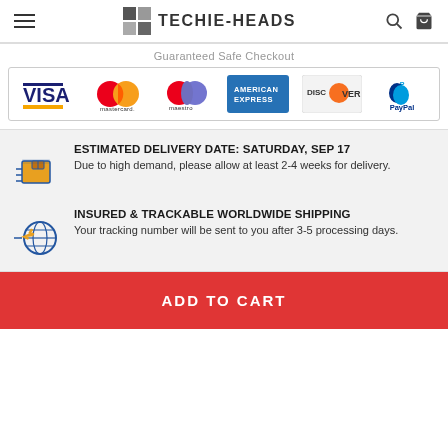TECHIE-HEADS
Guaranteed Safe Checkout
[Figure (logo): Payment method logos: VISA, Mastercard, Maestro, American Express, Discover, PayPal]
ESTIMATED DELIVERY DATE: SATURDAY, SEP 17
Due to high demand, please allow at least 2-4 weeks for delivery.
INSURED & TRACKABLE WORLDWIDE SHIPPING
Your tracking number will be sent to you after 3-5 processing days.
ADD TO CART